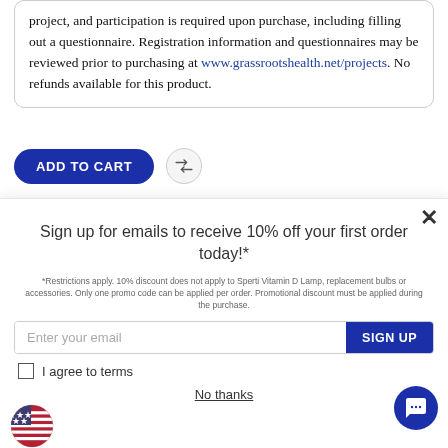project, and participation is required upon purchase, including filling out a questionnaire. Registration information and questionnaires may be reviewed prior to purchasing at www.grassrootshealth.net/projects. No refunds available for this product.
[Figure (screenshot): ADD TO CART button (dark blue, pill-shaped) and a shuffle/compare icon button]
Sign up for emails to receive 10% off your first order today!*
*Restrictions apply. 10% discount does not apply to Sperti Vitamin D Lamp, replacement bulbs or accessories. Only one promo code can be applied per order. Promotional discount must be applied during the purchase.
[Figure (screenshot): Email sign-up form with 'Enter your email' input and 'SIGN UP' dark blue button]
I agree to terms
No thanks